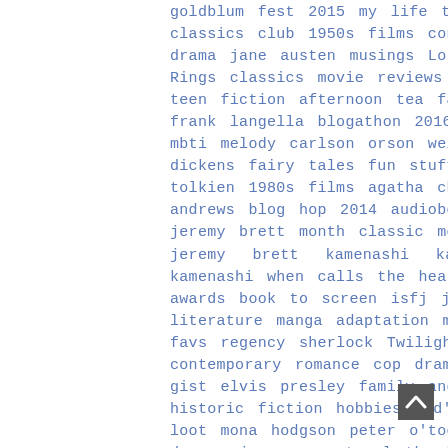goldblum fest 2015 my life tags the classics club 1950s films contemporary drama jane austen musings Lord of the Rings classics movie reviews radio theater teen fiction afternoon tea fandom: mbti frank langella blogathon 2016 major crimes mbti melody carlson orson welles charles dickens fairy tales fun stuff netgalley tolkien 1980s films agatha christie anthony andrews blog hop 2014 audiobooks celebrate jeremy brett month classic movies fanfiction jeremy brett kamenashi kazuya kazuya kamenashi when calls the heart 1960s films awards book to screen isfj jody hedlund literature manga adaptation my absolute favs regency sherlock Twilight challenges contemporary romance cop drama deeanne gist elvis presley family and friends god historic fiction hobbies kid's fiction library loot mona hodgson peter o'toole robert downey jr. supernatural the hobbit vampires we love lucy 2020 blogathon westerns writing